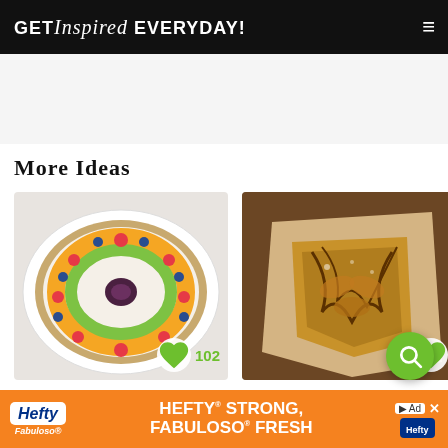GET Inspired EVERYDAY!
More Ideas
[Figure (photo): Rainbow Cheesecake Fruit Pizza - colorful fruit tart with kiwi, strawberries, oranges, and blueberries on a cream cheese base. Shows 102 likes.]
Rainbow Cheesecake Fruit Pizza
[Figure (photo): Gluten Free Caramel Apple Galette - rustic pastry with drizzled caramel on parchment paper.]
Gluten Free Caramel Apple Galette
[Figure (other): Hefty advertisement banner: HEFTY STRONG, FABULOSO FRESH]